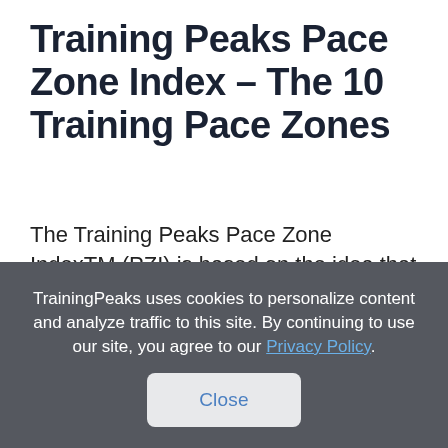Training Peaks Pace Zone Index – The 10 Training Pace Zones
The Training Peaks Pace Zone IndexTM (PZI) is based on the idea that there are six pace zones that all runners should target in their training. Each pace zone corresponds to a physiological
TrainingPeaks uses cookies to personalize content and analyze traffic to this site. By continuing to use our site, you agree to our Privacy Policy.